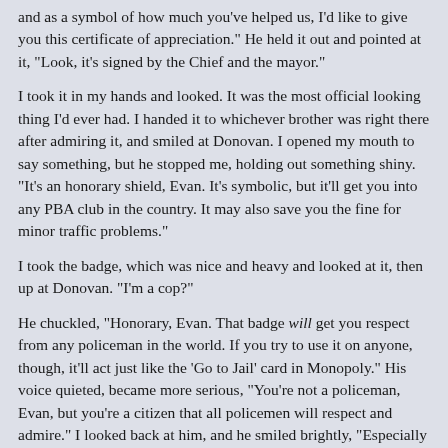and as a symbol of how much you've helped us, I'd like to give you this certificate of appreciation." He held it out and pointed at it, "Look, it's signed by the Chief and the mayor."
I took it in my hands and looked. It was the most official looking thing I'd ever had. I handed it to whichever brother was right there after admiring it, and smiled at Donovan. I opened my mouth to say something, but he stopped me, holding out something shiny. "It's an honorary shield, Evan. It's symbolic, but it'll get you into any PBA club in the country. It may also save you the fine for minor traffic problems."
I took the badge, which was nice and heavy and looked at it, then up at Donovan. "I'm a cop?"
He chuckled, "Honorary, Evan. That badge will get you respect from any policeman in the world. If you try to use it on anyone, though, it'll act just like the 'Go to Jail' card in Monopoly." His voice quieted, became more serious, "You're not a policeman, Evan, but you're a citizen that all policemen will respect and admire." I looked back at him, and he smiled brightly, "Especially this one."
My eyes welled up, but I didn't cry. I smiled instead, "Really?" and looked back at the badge. "Why me?"